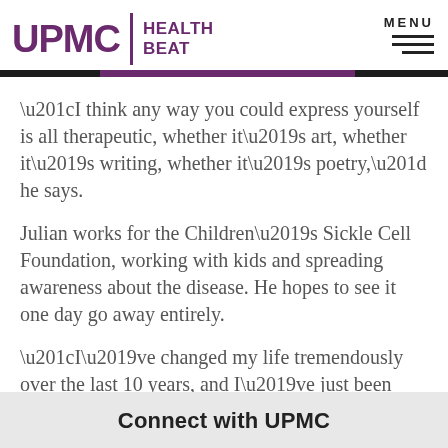UPMC HEALTH BEAT
“I think any way you could express yourself is all therapeutic, whether it’s art, whether it’s writing, whether it’s poetry,” he says.
Julian works for the Children’s Sickle Cell Foundation, working with kids and spreading awareness about the disease. He hopes to see it one day go away entirely.
“I’ve changed my life tremendously over the last 10 years, and I’ve just been seeing benefits from it,” Julian says.
Connect with UPMC